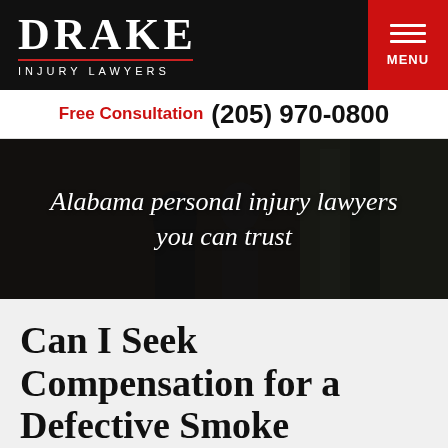DRAKE INJURY LAWYERS
Free Consultation (205) 970-0800
[Figure (photo): Two lawyers standing in an office — Alabama personal injury lawyers you can trust]
Can I Seek Compensation for a Defective Smoke Detector?
Posted on June 20, 2018